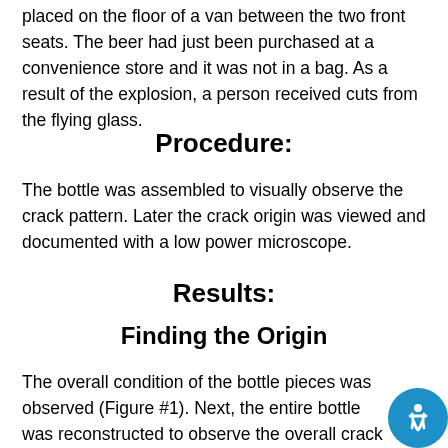placed on the floor of a van between the two front seats. The beer had just been purchased at a convenience store and it was not in a bag. As a result of the explosion, a person received cuts from the flying glass.
Procedure:
The bottle was assembled to visually observe the crack pattern. Later the crack origin was viewed and documented with a low power microscope.
Results:
Finding the Origin
The overall condition of the bottle pieces was observed (Figure #1). Next, the entire bottle was reconstructed to observe the overall crack pattern. This allows one to determine the general location of the origin. In this case